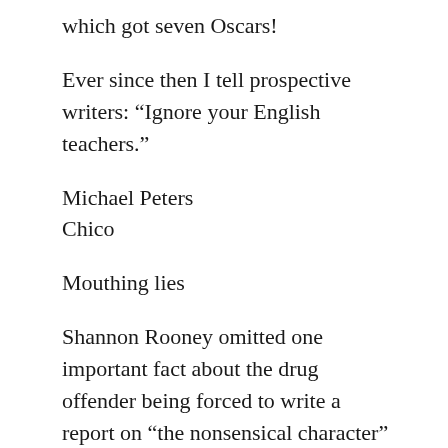which got seven Oscars!
Ever since then I tell prospective writers: “Ignore your English teachers.”
Michael Peters
Chico
Mouthing lies
Shannon Rooney omitted one important fact about the drug offender being forced to write a report on “the nonsensical character” of California’s medical-marijuana program.